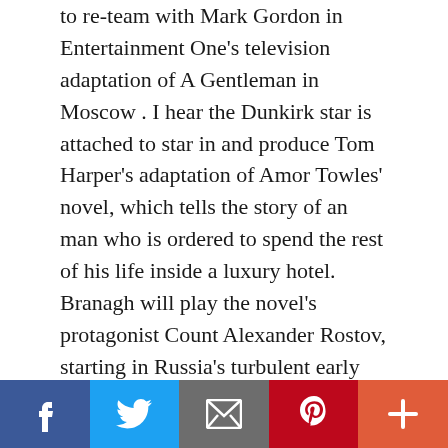to re-team with Mark Gordon in Entertainment One's television adaptation of A Gentleman in Moscow . I hear the Dunkirk star is attached to star in and produce Tom Harper's adaptation of Amor Towles' novel, which tells the story of an man who is ordered to spend the rest of his life inside a luxury hotel. Branagh will play the novel's protagonist Count Alexander Rostov, starting in Russia's turbulent early 1920s and spanning 30 years. When the Count is deemed an unrepentant aristocrat by a Bolshevik tribunal, he is sentenced to house arrest in the Metropol, a grand hotel across the street from the Kremlin. Having never worked a day in his life, he must now live in one
[Figure (infographic): Social sharing toolbar with five buttons: Facebook (dark blue, f icon), Twitter (light blue, bird icon), Email (gray, envelope icon), Pinterest (red, P icon), More (orange-red, plus icon)]